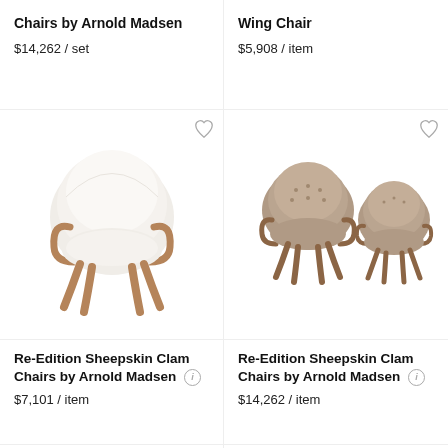Chairs by Arnold Madsen
$14,262 / set
Wing Chair
$5,908 / item
[Figure (photo): White sheepskin clam chair with wooden legs]
[Figure (photo): Two brown/taupe sheepskin clam chairs with wooden legs]
Re-Edition Sheepskin Clam Chairs by Arnold Madsen
$7,101 / item
Re-Edition Sheepskin Clam Chairs by Arnold Madsen
$14,262 / item
[Figure (photo): Two white/cream upholstered chairs with wooden frames]
[Figure (photo): Beige/cream sheepskin lounge chair with dark wooden armrests]